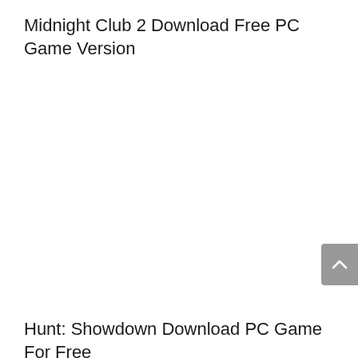Midnight Club 2 Download Free PC Game Version
Hunt: Showdown Download PC Game For Free